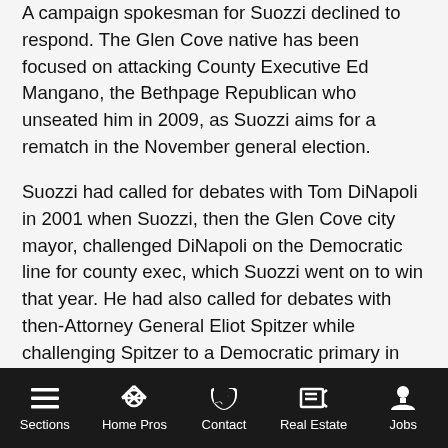A campaign spokesman for Suozzi declined to respond. The Glen Cove native has been focused on attacking County Executive Ed Mangano, the Bethpage Republican who unseated him in 2009, as Suozzi aims for a rematch in the November general election.
Suozzi had called for debates with Tom DiNapoli in 2001 when Suozzi, then the Glen Cove city mayor, challenged DiNapoli on the Democratic line for county exec, which Suozzi went on to win that year. He had also called for debates with then-Attorney General Eliot Spitzer while challenging Spitzer to a Democratic primary in the 2005 gubernatorial campaign.
Haber, fighting for media attention seemingly monopolized by the salacious New York City mayoral race, unleashed a new weapon in his fight against the party establishment: yellow rubber duckies he dubbed the "Suozzi Debate Duck."
Sections  Home Pros  Contact  Real Estate  Jobs